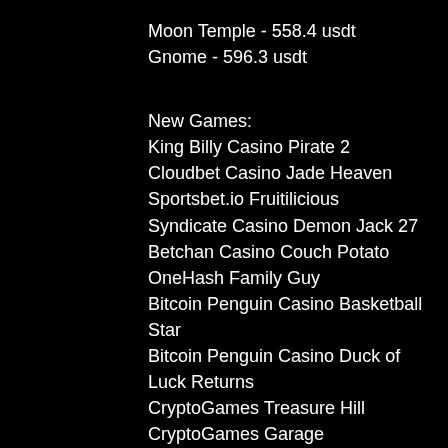Moon Temple - 558.4 usdt
Gnome - 596.3 usdt
New Games:
King Billy Casino Pirate 2
Cloudbet Casino Jade Heaven
Sportsbet.io Fruitilicious
Syndicate Casino Demon Jack 27
Betchan Casino Couch Potato
OneHash Family Guy
Bitcoin Penguin Casino Basketball Star
Bitcoin Penguin Casino Duck of Luck Returns
CryptoGames Treasure Hill
CryptoGames Garage
Playamo Casino Magic Portals
mBTC free bet Platoon
Playamo Casino Zeus
Betchan Casino Satoshi's Secret
OneHash Lucky Drink